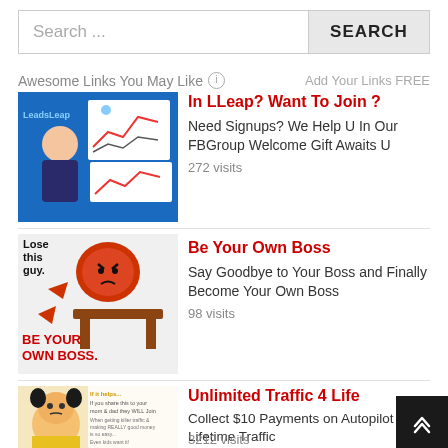Search ...
SEARCH
Awesome Links You May Like
Add Your Links FREE
[Figure (photo): LeadsLeap banner with cartoon businesswoman and charts]
In LLeap? Want To Join ?
Need Signups? We Help U In Our FBGroup Welcome Gift Awaits U
272 visits
[Figure (illustration): Be Your Own Boss image with angry red boss cartoon character, text reads: Lose this guy. BE YOUR OWN BOSS.]
Be Your Own Boss
Say Goodbye to Your Boss and Finally Become Your Own Boss
98 visits
[Figure (photo): Small child with serious expression, overlay text about traffic and sharing]
Unlimited Traffic 4 Life
Collect $10 Payments on Autopilot & Get Lifetime Traffic
3212 visits